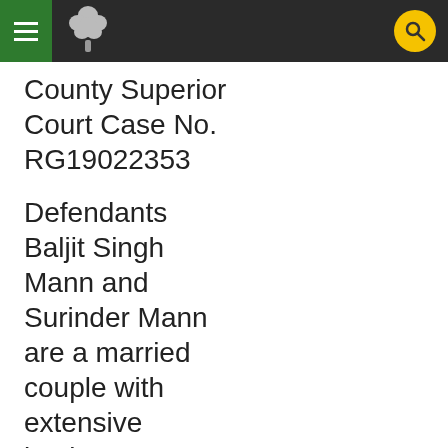County Superior Court Case No. RG19022353
Defendants Baljit Singh Mann and Surinder Mann are a married couple with extensive business interests in Oakland, including the